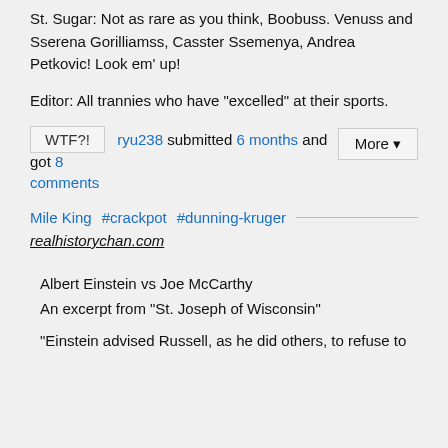St. Sugar: Not as rare as you think, Boobuss. Venuss and Sserena Gorilliamss, Casster Ssemenya, Andrea Petkovic! Look em' up!
Editor: All trannies who have "excelled" at their sports.
WTF?! ryu238 submitted 6 months and got 8 comments  More ▼
Mile King  #crackpot  #dunning-kruger
realhistorychan.com
Albert Einstein vs Joe McCarthy
An excerpt from "St. Joseph of Wisconsin"
"Einstein advised Russell, as he did others, to refuse to